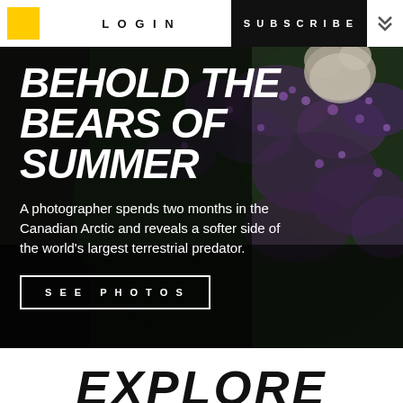LOGIN | SUBSCRIBE
[Figure (photo): A bear partially visible among dense purple wildflowers and green foliage in the Canadian Arctic, dark moody tones]
BEHOLD THE BEARS OF SUMMER
A photographer spends two months in the Canadian Arctic and reveals a softer side of the world's largest terrestrial predator.
SEE PHOTOS
EXPLORE